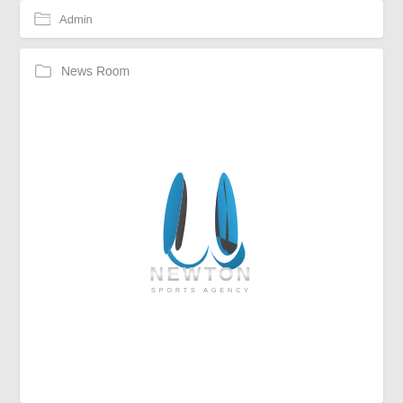Admin
News Room
[Figure (logo): Newton Sports Agency logo — stylized N shape formed by two curved teardrop/flame shapes (left in blue, right in dark grey), with 'NEWTON' in metallic grey letters below and 'SPORTS AGENCY' in small spaced caps beneath that]